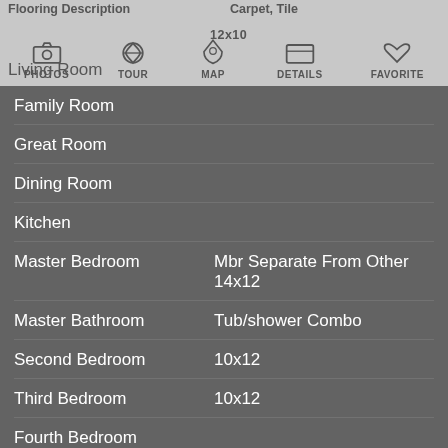Flooring Description: Carpet, Tile | Living Room | 12x10
Family Room
Great Room
Dining Room
Kitchen
Master Bedroom | Mbr Separate From Other, 14x12
Master Bathroom | Tub/shower Combo
Second Bedroom | 10x12
Third Bedroom | 10x12
Fourth Bedroom
Fifth Bedroom
Bedroom Downstairs | N
Bathroom Downstairs | Y
Bathroom Downstairs | 1/2 Bath Downstairs